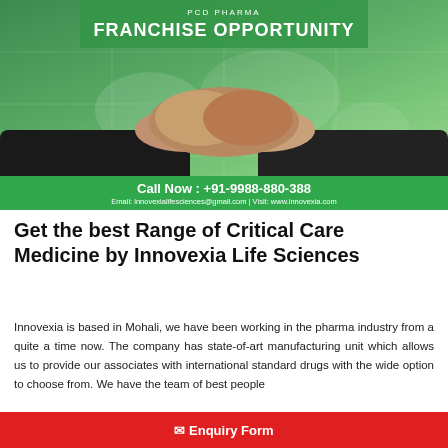[Figure (photo): PCD Pharma Franchise Opportunity banner with two people shaking hands over a world map background, green bar with phone number and email/website contact info]
Get the best Range of Critical Care Medicine by Innovexia Life Sciences
Innovexia is based in Mohali, we have been working in the pharma industry from a quite a time now. The company has state-of-art manufacturing unit which allows us to provide our associates with international standard drugs with the wide option to choose from. We have the team of best people
✉ Enquiry Form